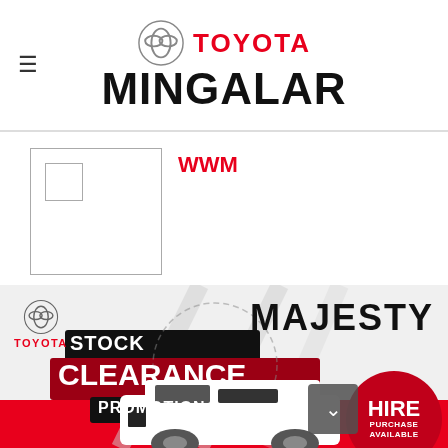Toyota Mingalar – navigation header with logo
WWM
[Figure (photo): Toyota Majesty Stock Clearance Promotion banner with van image, hire purchase available circle, and Toyota logo]
[Figure (illustration): Scroll down button (chevron down)]